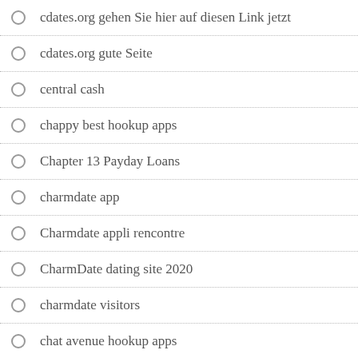cdates.org gehen Sie hier auf diesen Link jetzt
cdates.org gute Seite
central cash
chappy best hookup apps
Chapter 13 Payday Loans
charmdate app
Charmdate appli rencontre
CharmDate dating site 2020
charmdate visitors
chat avenue hookup apps
chat avenue hookup sites
chat avenue payant